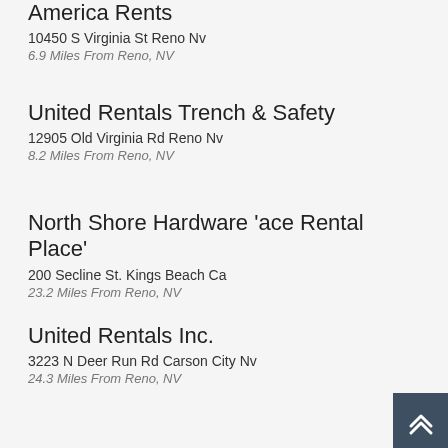America Rents
10450 S Virginia St Reno Nv
6.9 Miles From Reno, NV
United Rentals Trench & Safety
12905 Old Virginia Rd Reno Nv
8.2 Miles From Reno, NV
North Shore Hardware 'ace Rental Place'
200 Secline St. Kings Beach Ca
23.2 Miles From Reno, NV
United Rentals Inc.
3223 N Deer Run Rd Carson City Nv
24.3 Miles From Reno, NV